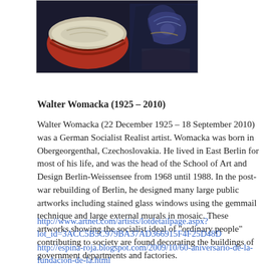[Figure (photo): Partial view of a painting showing what appears to be bowls or containers and a figure, rendered in an expressionist style with dark blues and reds.]
Walter Womacka (1925 – 2010)
Walter Womacka (22 December 1925 – 18 September 2010) was a German Socialist Realist artist. Womacka was born in Obergeorgenthal, Czechoslovakia. He lived in East Berlin for most of his life, and was the head of the School of Art and Design Berlin-Weissensee from 1968 until 1988. In the post-war rebuilding of Berlin, he designed many large public artworks including stained glass windows using the gemmail technique and large external murals in mosaic. These artworks showing the socialist ideal of "ordinary people" contributing to society are found decorating the buildings of government departments and factories.
http://www.artnet.com/artists/lotdetailpage.aspx?lot_id=3ACC5B5C979BA37AD366915F4F25D48D
http://espina-roja.blogspot.com/2009/10/60-aniversario-de-la-fundacion-de-la.html
http://www.kulturation.de/ki_1_thema.php?id=99